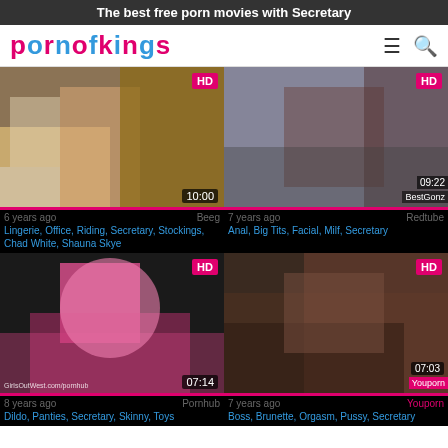The best free porn movies with Secretary
[Figure (logo): PornOfKings logo in pink and blue letters]
[Figure (photo): Video thumbnail 1 - office scene, HD, 10:00, Beeg]
6 years ago  Beeg
Lingerie, Office, Riding, Secretary, Stockings, Chad White, Shauna Skye
[Figure (photo): Video thumbnail 2 - HD, 09:22, BestGonz, Redtube]
7 years ago  Redtube
Anal, Big Tits, Facial, Milf, Secretary
[Figure (photo): Video thumbnail 3 - HD, 07:14, GirlsOutWest, Pornhub]
8 years ago  Pornhub
Dildo, Panties, Secretary, Skinny, Toys
[Figure (photo): Video thumbnail 4 - HD, 07:03, Youporn]
7 years ago  Youporn
Boss, Brunette, Orgasm, Pussy, Secretary